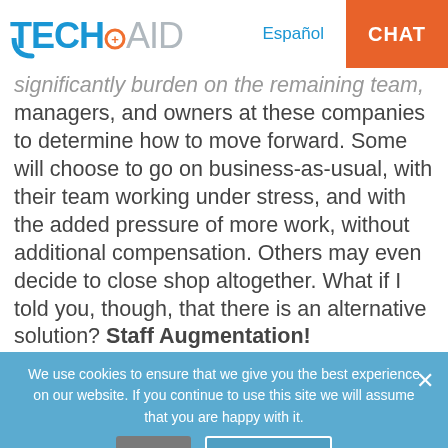TECH+AID | Español | CHAT
significantly burden on the remaining team, managers, and owners at these companies to determine how to move forward. Some will choose to go on business-as-usual, with their team working under stress, and with the added pressure of more work, without additional compensation. Others may even decide to close shop altogether. What if I told you, though, that there is an alternative solution? Staff Augmentation!
We use cookies to ensure that we give you the best experience on our website. If you continue to use this site we will assume that you are happy with it.
What is Staff Augmentation?
Home | About us | Our services | Testimonials | C...